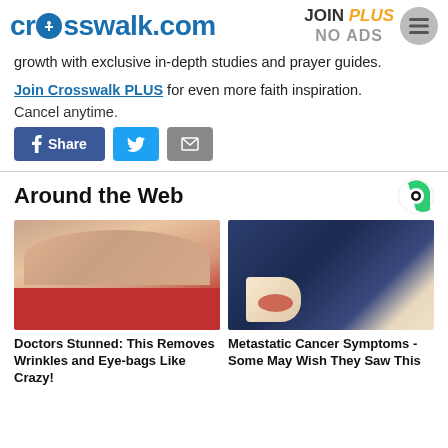crosswalk.com | JOIN PLUS NO ADS
growth with exclusive in-depth studies and prayer guides.
Join Crosswalk PLUS for even more faith inspiration. Cancel anytime.
[Figure (other): Social share buttons: Facebook Share, Twitter, Email]
Around the Web
[Figure (photo): Close-up photo of a woman's face with red lipstick and dry/flaky skin]
[Figure (photo): Photo of a woman in a blue jacket touching a necklace on her chest]
Doctors Stunned: This Removes Wrinkles and Eye-bags Like Crazy!
Metastatic Cancer Symptoms - Some May Wish They Saw This